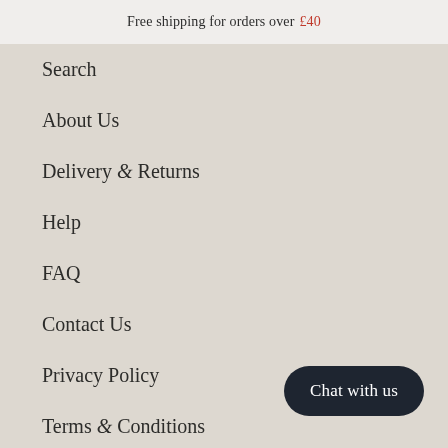Free shipping for orders over £40
Search
About Us
Delivery & Returns
Help
FAQ
Contact Us
Privacy Policy
Terms & Conditions
Chat with us